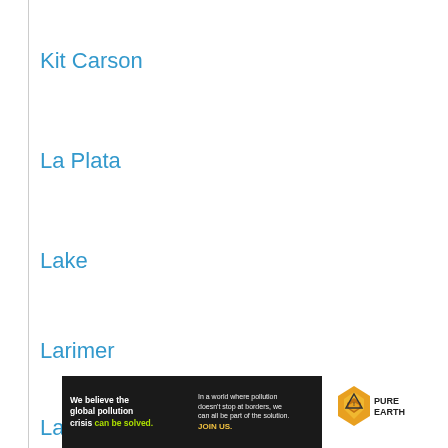Kit Carson
La Plata
Lake
Larimer
Las Animas
[Figure (other): Advertisement banner for Pure Earth organization. Black left panel with text 'We believe the global pollution crisis can be solved.' with 'can be solved.' in green. Right side text: 'In a world where pollution doesn't stop at borders, we can all be part of the solution. JOIN US.' Logo shows Pure Earth diamond/chevron icon with PURE EARTH text.]